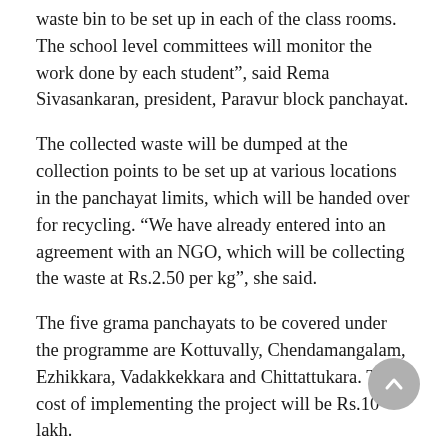waste bin to be set up in each of the class rooms. The school level committees will monitor the work done by each student”, said Rema Sivasankaran, president, Paravur block panchayat.
The collected waste will be dumped at the collection points to be set up at various locations in the panchayat limits, which will be handed over for recycling. “We have already entered into an agreement with an NGO, which will be collecting the waste at Rs.2.50 per kg”, she said.
The five grama panchayats to be covered under the programme are Kottuvally, Chendamangalam, Ezhikkara, Vadakkekkara and Chittattukara. The cost of implementing the project will be Rs.10 lakh.
As part of the programme, the students will be given training and orientation classes with the help of